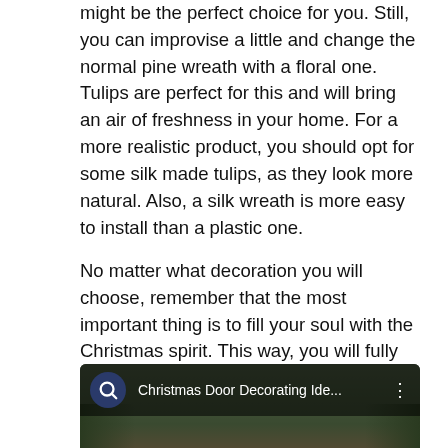might be the perfect choice for you. Still, you can improvise a little and change the normal pine wreath with a floral one. Tulips are perfect for this and will bring an air of freshness in your home. For a more realistic product, you should opt for some silk made tulips, as they look more natural. Also, a silk wreath is more easy to install than a plastic one.
No matter what decoration you will choose, remember that the most important thing is to fill your soul with the Christmas spirit. This way, you will fully enjoy this celebration and will be able to appreciate every little detail more. Merry Christmas!
[Figure (screenshot): Embedded YouTube video thumbnail showing 'Christmas Door Decorating Ide...' with a Q logo icon on the left, three-dot menu on the right, and a red YouTube play button at the bottom center. The background shows Christmas door decorations with greenery and red bows.]